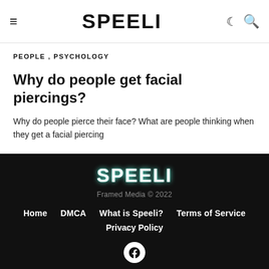SPEELI
PEOPLE , PSYCHOLOGY
Why do people get facial piercings?
Why do people pierce their face? What are people thinking when they get a facial piercing
[Figure (logo): SPEELI logo in white bold font on dark background with teal glow]
Framed Media © 2022
Home  DMCA  What is Speeli?  Terms of Service  Privacy Policy